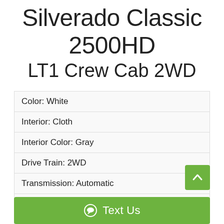Silverado Classic 2500HD LT1 Crew Cab 2WD
| Color: White |
| Interior: Cloth |
| Interior Color: Gray |
| Drive Train: 2WD |
| Transmission: Automatic |
| Vin: 1GCGC13U16F107641 |
| Engine: 6.0L V8 OHV 16V |
Text Us